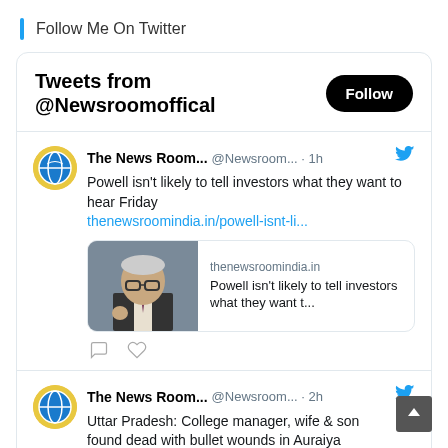Follow Me On Twitter
[Figure (screenshot): Twitter widget showing tweets from @Newsroomoffical with a Follow button]
Tweets from @Newsroomoffical
The News Room... @Newsroom... · 1h
Powell isn't likely to tell investors what they want to hear Friday thenewsroomindia.in/powell-isnt-li...
thenewsroomindia.in — Powell isn't likely to tell investors what they want t...
The News Room... @Newsroom... · 2h
Uttar Pradesh: College manager, wife & son found dead with bullet wounds in Auraiya